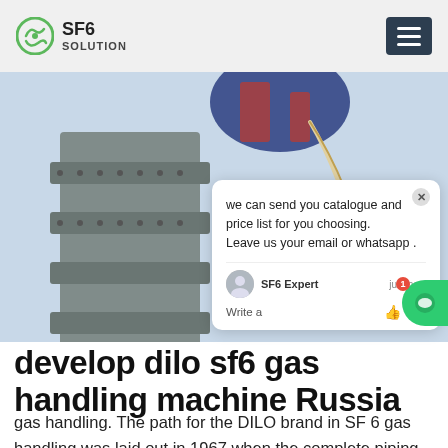SF6 SOLUTION
[Figure (photo): Upward-looking photo of a worker in harness working on large industrial pipe or gas handling equipment against a sky background]
we can send you catalogue and price list for you choosing. Leave us your email or whatsapp .
SF6 Expert   just now
Write a
develop dilo sf6 gas handling machine Russia
gas handling. The path for the DILO brand in SF 6 gas handling was laid out in 1967 when the complete piping system for installation of the fi rst